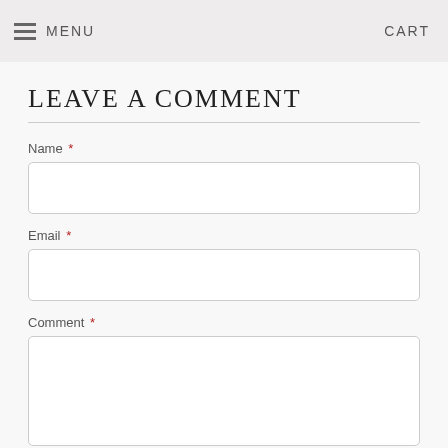MENU   CART
LEAVE A COMMENT
Name *
Email *
Comment *